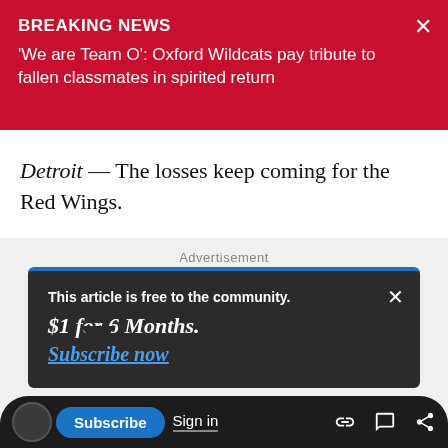BREAKING NEWS
'We are Team O': Oxford Wildcats pay tribute to fallen classmates in spirited return
Detroit — The losses keep coming for the Red Wings.
[Figure (other): Advertisement placeholder area with grey background]
This article is free to the community.
$1 for 6 Months.
Subscribe now